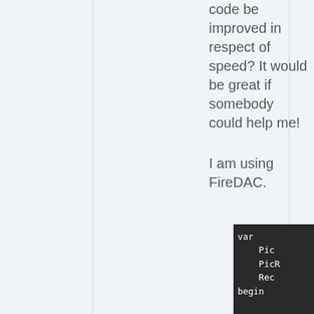code be improved in respect of speed? It would be great if somebody could help me!
I am using FireDAC.
[Figure (screenshot): Dark-themed code editor snippet showing Pascal/Delphi code beginning with 'var', followed by indented variable declarations (Pic, PicR, Rec) and 'begin', then 'for', 'beg', and partial lines starting with '.' and 'Pi' and 'Sa'.]